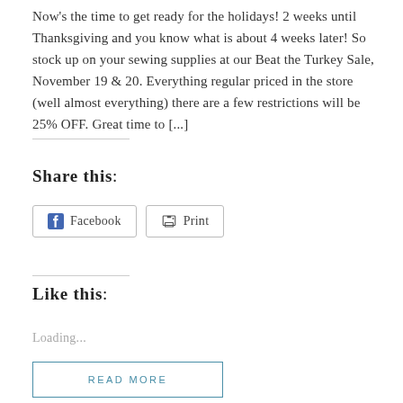Now’s the time to get ready for the holidays! 2 weeks until Thanksgiving and you know what is about 4 weeks later! So stock up on your sewing supplies at our Beat the Turkey Sale, November 19 & 20. Everything regular priced in the store (well almost everything) there are a few restrictions will be 25% OFF. Great time to […]
Share this:
[Figure (other): Facebook share button and Print button]
Like this:
Loading…
READ MORE